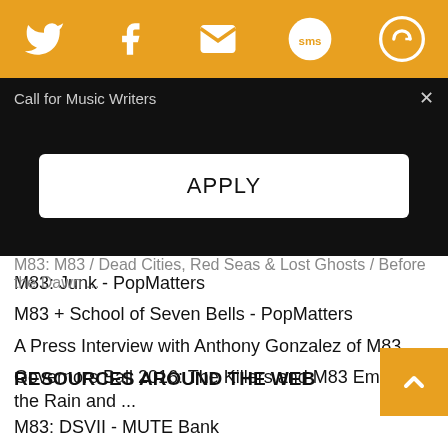[Figure (other): Orange top navigation bar with social media icons: Twitter bird, Facebook f, envelope/email, SMS speech bubble, and circular arrow/refresh icon]
Call for Music Writers
APPLY
M83: Junk - PopMatters
M83 + School of Seven Bells - PopMatters
A Press Interview with Anthony Gonzalez of M83
Governors Ball 2016: The Killers and M83 Embrace the Rain and ...
M83: M83 / Dead Cities, Red Seas & Lost Ghosts / Before the Dawn ...
RESOURCES AROUND THE WEB
M83: DSVII - MUTE Bank